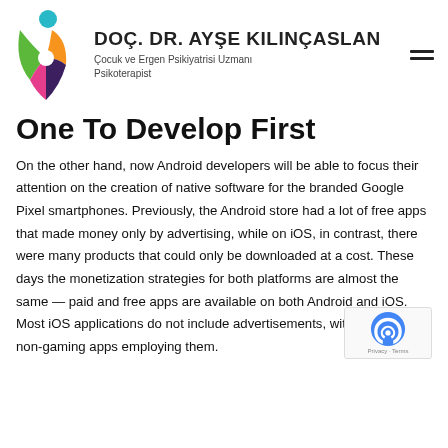DOÇ. DR. AYŞE KILINÇASLAN
Çocuk ve Ergen Psikiyatrisi Uzmanı Psikoterapist
One To Develop First
On the other hand, now Android developers will be able to focus their attention on the creation of native software for the branded Google Pixel smartphones. Previously, the Android store had a lot of free apps that made money only by advertising, while on iOS, in contrast, there were many products that could only be downloaded at a cost. These days the monetization strategies for both platforms are almost the same — paid and free apps are available on both Android and iOS. Most iOS applications do not include advertisements, with only 22% of non-gaming apps employing them.